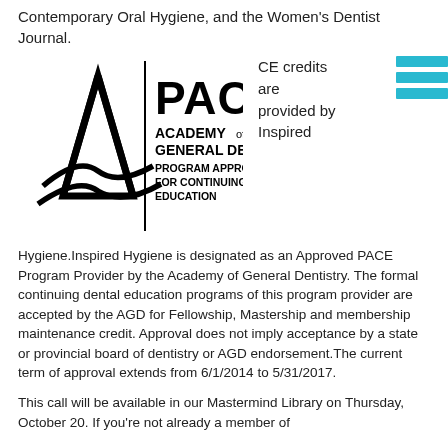Contemporary Oral Hygiene, and the Women's Dentist Journal.
[Figure (logo): PACE Academy of General Dentistry Program Approval for Continuing Education logo]
CE credits are provided by Inspired
Hygiene.Inspired Hygiene is designated as an Approved PACE Program Provider by the Academy of General Dentistry. The formal continuing dental education programs of this program provider are accepted by the AGD for Fellowship, Mastership and membership maintenance credit. Approval does not imply acceptance by a state or provincial board of dentistry or AGD endorsement.The current term of approval extends from 6/1/2014 to 5/31/2017.
This call will be available in our Mastermind Library on Thursday, October 20. If you're not already a member of